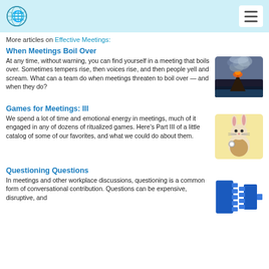More articles on Effective Meetings:
When Meetings Boil Over
At any time, without warning, you can find yourself in a meeting that boils over. Sometimes tempers rise, then voices rise, and then people yell and scream. What can a team do when meetings threaten to boil over — and when they do?
[Figure (photo): Volcanic eruption with smoke and lava near ocean]
Games for Meetings: III
We spend a lot of time and emotional energy in meetings, much of it engaged in any of dozens of ritualized games. Here's Part III of a little catalog of some of our favorites, and what we could do about them.
[Figure (illustration): White rabbit illustration (Alice in Wonderland style)]
Questioning Questions
In meetings and other workplace discussions, questioning is a common form of conversational contribution. Questions can be expensive, disruptive, and
[Figure (illustration): Blue electrical connector diagram illustration]